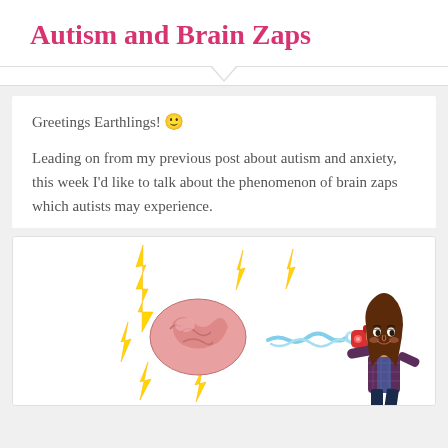Autism and Brain Zaps
Greetings Earthlings! 🙂
Leading on from my previous post about autism and anxiety, this week I'd like to talk about the phenomenon of brain zaps which autists may experience.
[Figure (illustration): Cartoon bitmoji of a woman with brown hair holding a red ray gun that shoots blue lightning bolts at a brain emoji, surrounded by yellow lightning bolt symbols]